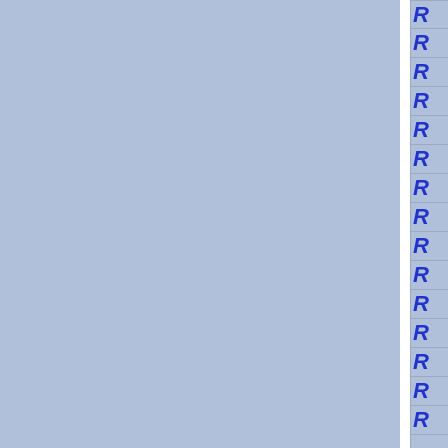[Figure (other): Two large light blue rectangular panels separated by a white vertical divider, with a right column of cells containing blue italic bold letter R, each cell separated by horizontal lines.]